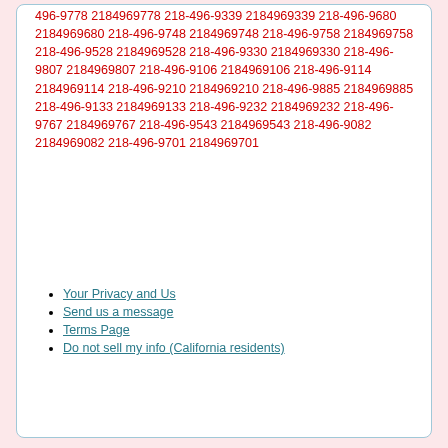496-9778 2184969778 218-496-9339 2184969339 218-496-9680 2184969680 218-496-9748 2184969748 218-496-9758 2184969758 218-496-9528 2184969528 218-496-9330 2184969330 218-496-9807 2184969807 218-496-9106 2184969106 218-496-9114 2184969114 218-496-9210 2184969210 218-496-9885 2184969885 218-496-9133 2184969133 218-496-9232 2184969232 218-496-9767 2184969767 218-496-9543 2184969543 218-496-9082 2184969082 218-496-9701 2184969701
Your Privacy and Us
Send us a message
Terms Page
Do not sell my info (California residents)